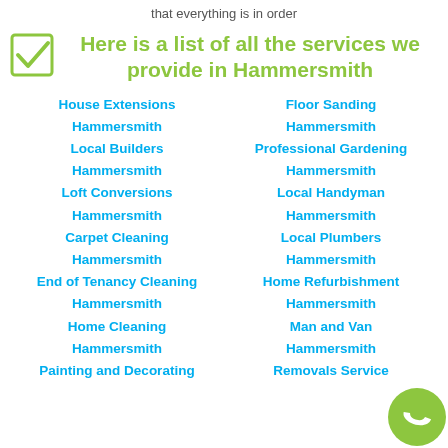that everything is in order
Here is a list of all the services we provide in Hammersmith
House Extensions
Floor Sanding
Hammersmith
Hammersmith
Local Builders
Professional Gardening
Hammersmith
Hammersmith
Loft Conversions
Local Handyman
Hammersmith
Hammersmith
Carpet Cleaning
Local Plumbers
Hammersmith
Hammersmith
End of Tenancy Cleaning
Home Refurbishment
Hammersmith
Hammersmith
Home Cleaning
Man and Van
Hammersmith
Hammersmith
Painting and Decorating
Removals Service